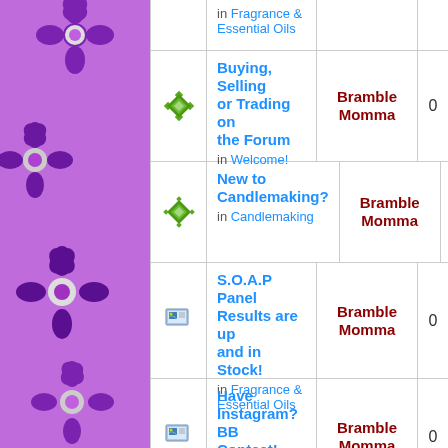| icon | topic | author | count |
| --- | --- | --- | --- |
| (partial) fragrance essential oils link | in Fragrance & Essential Oils |  |  |
| diamond | Buying, Selling or Trading on the Forum | in Welcome! | Bramble Momma | 0 |
| diamond | New to Candlemaking? | in Candlemaking | Bramble Momma | 0 |
| page | S.O.A.P Panel Results are up and in Stock! | in Fragrance & Essential Oils | Bramble Momma | 0 |
| page | Have Instagram? BB Contest! | in New Trends & Off Topic Chatter | Bramble Momma | 0 |